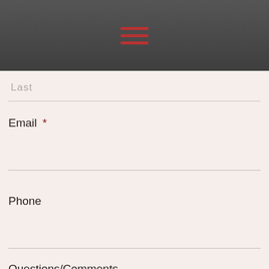[Figure (other): Dark gray header bar with hamburger menu icon made of three red horizontal lines]
Last
Email *
Phone
Questions/Comments